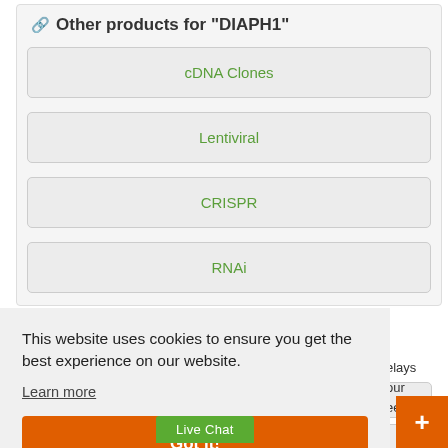Other products for "DIAPH1"
cDNA Clones
Lentiviral
CRISPR
RNAi
This website uses cookies to ensure you get the best experience on our website.
Learn more
Got it!
elays our eeks in
Live Chat